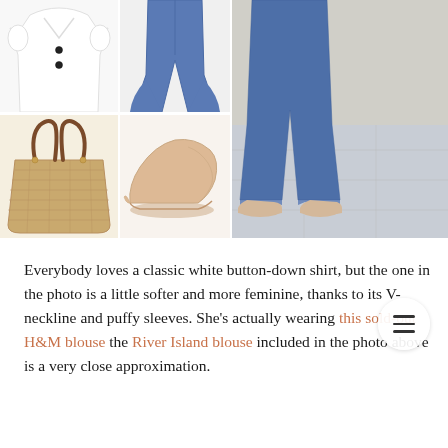[Figure (photo): White button-down blouse with V-neckline and puffy sleeves, product shot on white background]
[Figure (photo): Dark blue flared jeans, product shot on white background]
[Figure (photo): Street style photo showing lower body — blue cropped flare jeans with frayed hem and nude/beige pointed-toe ballet flats on stone pavement]
[Figure (photo): Woven straw tote bag with brown leather handles and gold studs, product shot]
[Figure (photo): Nude/blush beige pointed-toe ballet flat shoe, side profile product shot]
Everybody loves a classic white button-down shirt, but the one in the photo is a little softer and more feminine, thanks to its V-neckline and puffy sleeves. She's actually wearing this sold-out H&M blouse the River Island blouse included in the photo above is a very close approximation.